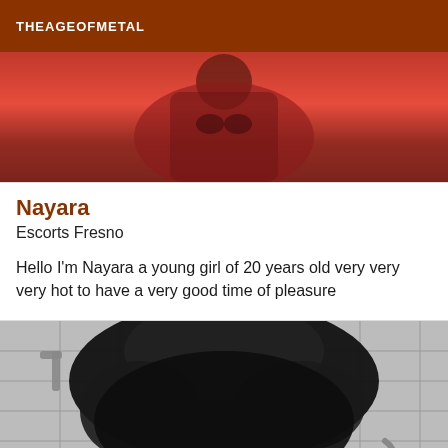THEAGEOFMETAL
[Figure (photo): Person in red dress photographed from above]
Nayara
Escorts Fresno
Hello I'm Nayara a young girl of 20 years old very very very hot to have a very good time of pleasure
[Figure (photo): Black and white photo of person with dark curly hair in a shower/bathroom setting]